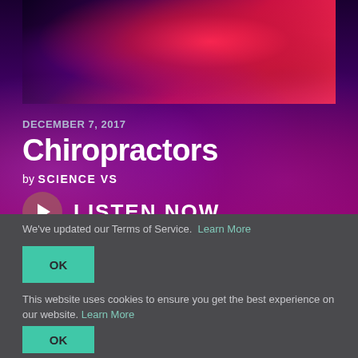[Figure (photo): Medical/anatomical 3D render showing a heart or organ in red and blue tones against dark background]
DECEMBER 7, 2017
Chiropractors
by SCIENCE VS
LISTEN NOW
We've updated our Terms of Service. Learn More
OK
This website uses cookies to ensure you get the best experience on our website. Learn More
OK